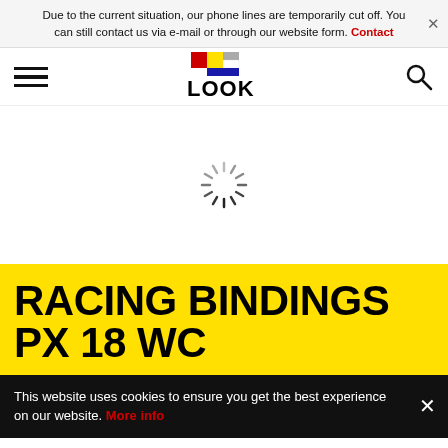Due to the current situation, our phone lines are temporarily cut off. You can still contact us via e-mail or through our website form. Contact
[Figure (logo): LOOK cycling brand logo with colored squares (red, yellow, grey, blue) above the word LOOK in bold black text]
RACING BINDINGS PX 18 WC
This website uses cookies to ensure you get the best experience on our website. More info